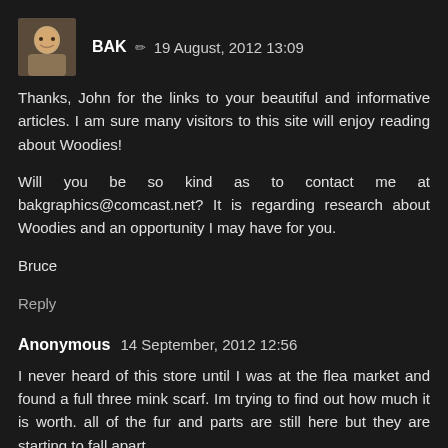[Figure (photo): Avatar photo of commenter BAK, showing a man's face]
BAK ✏ 19 August, 2012 13:09
Thanks, John for the links to your beautiful and informative articles. I am sure many visitors to this site will enjoy reading about Woodies!

Will you be so kind as to contact me at bakgraphics@comcast.net? It is regarding research about Woodies and an opportunity I may have for you.

Bruce
Reply
Anonymous 14 September, 2012 12:56
I never heard of this store until I was at the flea market and found a full three mink scarf. Im trying to find out how much it is worth. all of the fur and parts are still here but they are starting to fall apart.
Reply